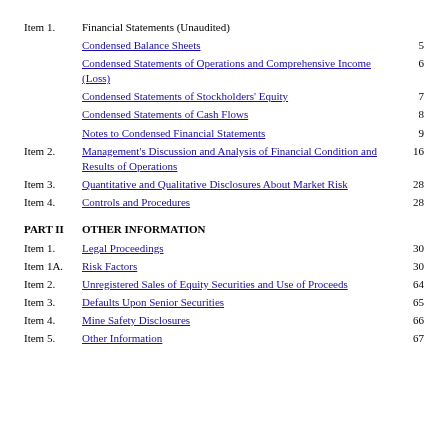Item 1.   Financial Statements (Unaudited)
Condensed Balance Sheets   5
Condensed Statements of Operations and Comprehensive Income (Loss)   6
Condensed Statements of Stockholders' Equity   7
Condensed Statements of Cash Flows   8
Notes to Condensed Financial Statements   9
Item 2.   Management's Discussion and Analysis of Financial Condition and Results of Operations   16
Item 3.   Quantitative and Qualitative Disclosures About Market Risk   28
Item 4.   Controls and Procedures   28
PART II   OTHER INFORMATION
Item 1.   Legal Proceedings   30
Item 1A. Risk Factors   30
Item 2.   Unregistered Sales of Equity Securities and Use of Proceeds   64
Item 3.   Defaults Upon Senior Securities   65
Item 4.   Mine Safety Disclosures   66
Item 5.   Other Information   67